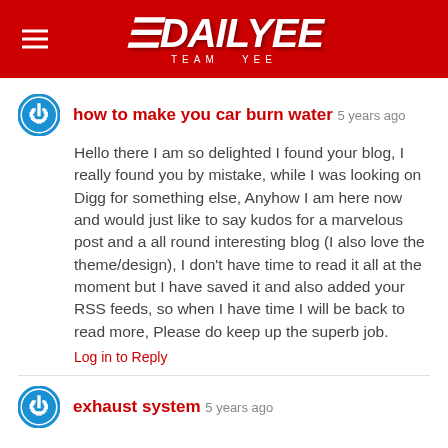DAILYEE TEAM YEE
how to make you car burn water  5 years ago
Hello there I am so delighted I found your blog, I really found you by mistake, while I was looking on Digg for something else, Anyhow I am here now and would just like to say kudos for a marvelous post and a all round interesting blog (I also love the theme/design), I don't have time to read it all at the moment but I have saved it and also added your RSS feeds, so when I have time I will be back to read more, Please do keep up the superb job.
Log in to Reply
exhaust system  5 years ago